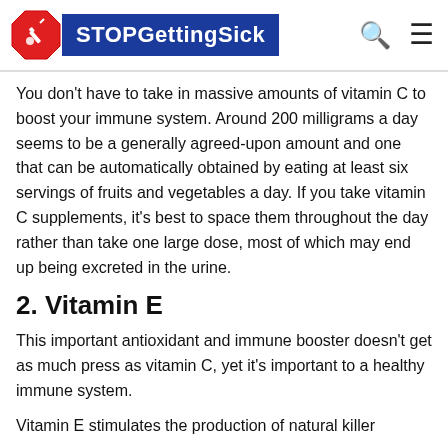STOPGettingSick
You don't have to take in massive amounts of vitamin C to boost your immune system. Around 200 milligrams a day seems to be a generally agreed-upon amount and one that can be automatically obtained by eating at least six servings of fruits and vegetables a day. If you take vitamin C supplements, it's best to space them throughout the day rather than take one large dose, most of which may end up being excreted in the urine.
2. Vitamin E
This important antioxidant and immune booster doesn't get as much press as vitamin C, yet it's important to a healthy immune system.
Vitamin E stimulates the production of natural killer